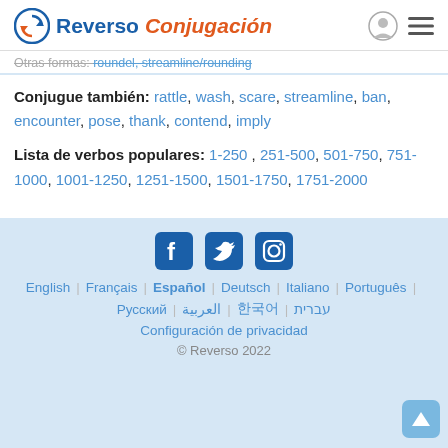Reverso Conjugación
Otras formas: roundel, streamline/rounding
Conjugue también: rattle, wash, scare, streamline, ban, encounter, pose, thank, contend, imply
Lista de verbos populares: 1-250, 251-500, 501-750, 751-1000, 1001-1250, 1251-1500, 1501-1750, 1751-2000
[Figure (logo): Facebook, Twitter, Instagram social media icons]
English | Français | Español | Deutsch | Italiano | Português | Русский | العربية | 한국어 | עברית
Configuración de privacidad
© Reverso 2022